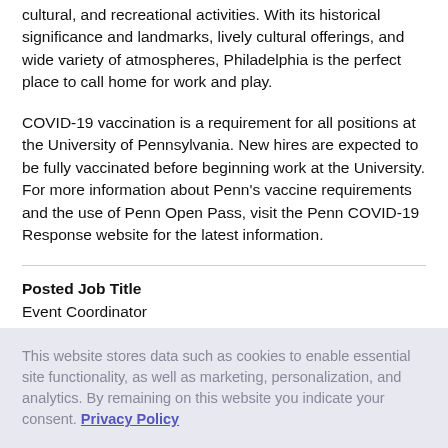cultural, and recreational activities. With its historical significance and landmarks, lively cultural offerings, and wide variety of atmospheres, Philadelphia is the perfect place to call home for work and play.
COVID-19 vaccination is a requirement for all positions at the University of Pennsylvania. New hires are expected to be fully vaccinated before beginning work at the University. For more information about Penn's vaccine requirements and the use of Penn Open Pass, visit the Penn COVID-19 Response website for the latest information.
Posted Job Title
Event Coordinator
This website stores data such as cookies to enable essential site functionality, as well as marketing, personalization, and analytics. By remaining on this website you indicate your consent. Privacy Policy